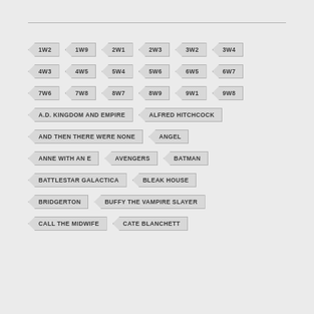1W2
1W9
2W1
2W3
3W2
3W4
4W3
4W5
5W4
5W6
6W5
6W7
7W6
7W8
8W7
8W9
9W1
9W8
A.D. KINGDOM AND EMPIRE
ALFRED HITCHCOCK
AND THEN THERE WERE NONE
ANGEL
ANNE WITH AN E
AVENGERS
BATMAN
BATTLESTAR GALACTICA
BLEAK HOUSE
BRIDGERTON
BUFFY THE VAMPIRE SLAYER
CALL THE MIDWIFE
CATE BLANCHETT